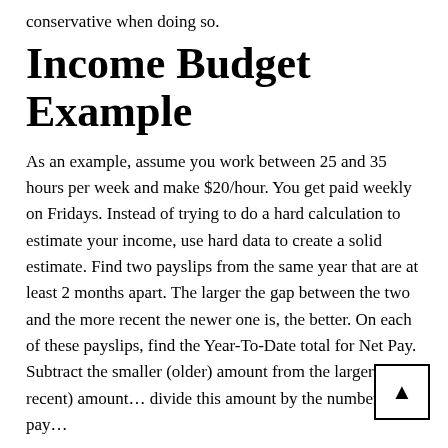conservative when doing so.
Income Budget Example
As an example, assume you work between 25 and 35 hours per week and make $20/hour. You get paid weekly on Fridays. Instead of trying to do a hard calculation to estimate your income, use hard data to create a solid estimate. Find two payslips from the same year that are at least 2 months apart. The larger the gap between the two and the more recent the newer one is, the better. On each of these payslips, find the Year-To-Date total for Net Pay. Subtract the smaller (older) amount from the larger (more recent) amount… divide this amount by the number of pay…